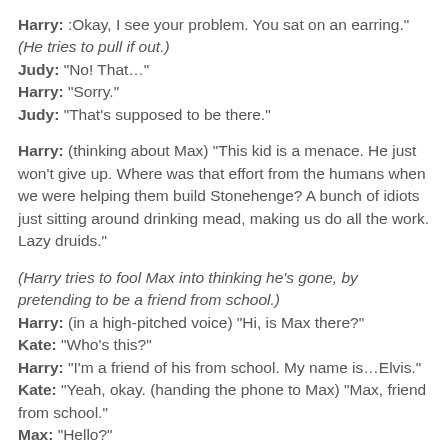Harry: :Okay, I see your problem. You sat on an earring."
(He tries to pull if out.)
Judy: "No! That…"
Harry: "Sorry."
Judy: "That's supposed to be there."
Harry: (thinking about Max) "This kid is a menace. He just won't give up. Where was that effort from the humans when we were helping them build Stonehenge? A bunch of idiots just sitting around drinking mead, making us do all the work. Lazy druids."
(Harry tries to fool Max into thinking he's gone, by pretending to be a friend from school.)
Harry: (in a high-pitched voice) "Hi, is Max there?"
Kate: "Who's this?"
Harry: "I'm a friend of his from school. My name is…Elvis."
Kate: "Yeah, okay. (handing the phone to Max) "Max, friend from school."
Max: "Hello?"
Harry: "Hi. I saw your poster on the street."
Max: "Yeah?"